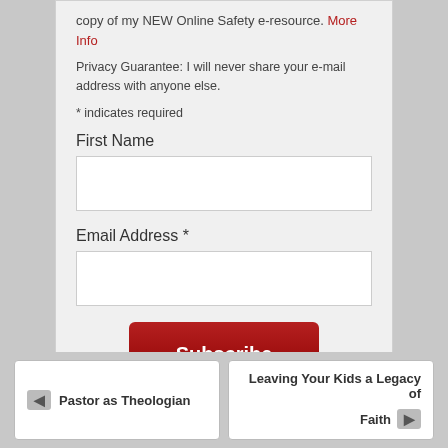copy of my NEW Online Safety e-resource. More Info
Privacy Guarantee: I will never share your e-mail address with anyone else.
* indicates required
First Name
[Figure (other): Text input field for First Name]
Email Address *
[Figure (other): Text input field for Email Address]
[Figure (other): Subscribe button, dark red with white bold text]
Pastor as Theologian
Leaving Your Kids a Legacy of Faith